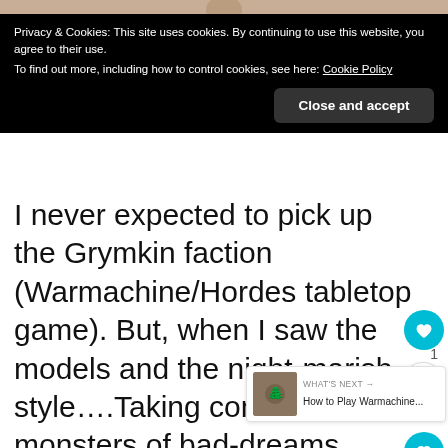[Figure (photo): Top portion of a photograph showing a painted miniature model figure against a beige/tan background.]
Privacy & Cookies: This site uses cookies. By continuing to use this website, you agree to their use.
To find out more, including how to control cookies, see here: Cookie Policy
Close and accept
I never expected to pick up the Grymkin faction (Warmachine/Hordes tabletop game). But, when I saw the models and the night-marish style….Taking control of monsters of bad-dreams couldn't be boring, right? I now own a large collection of Grymkin models. They are fun to paint.
WHAT'S NEXT → How to Play Warmachine...